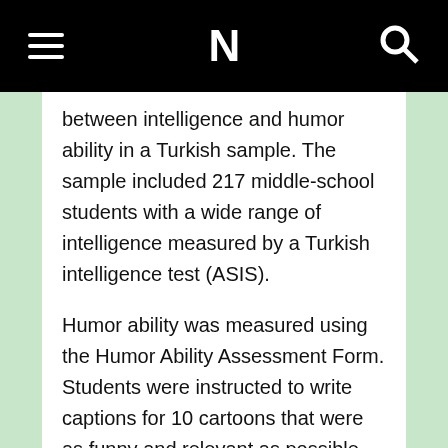N
between intelligence and humor ability in a Turkish sample. The sample included 217 middle-school students with a wide range of intelligence measured by a Turkish intelligence test (ASIS).
Humor ability was measured using the Humor Ability Assessment Form. Students were instructed to write captions for 10 cartoons that were as funny and relevant as possible. Seven experts rated the funniness of the captions and their relevance to the cartoons, yielding a total of 30,380 ratings (217 students × 10 cartoons × two criteria × seven experts).
The findings showed that both general intelligence